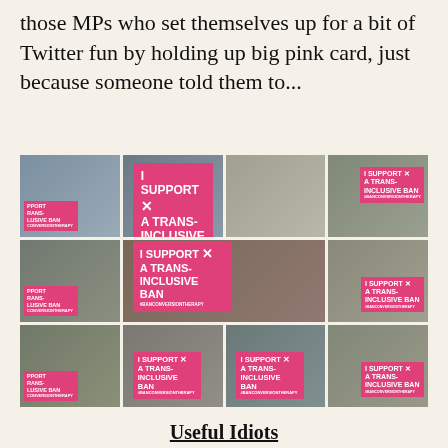those MPs who set themselves up for a bit of Twitter fun by holding up big pink card, just because someone told them to...
[Figure (photo): A 4x3 grid of photos showing Members of Parliament holding pink signs that read 'I SUPPORT A TRANS-INCLUSIVE BAN #BANCONVERSIONTHERAPY']
Useful Idiots